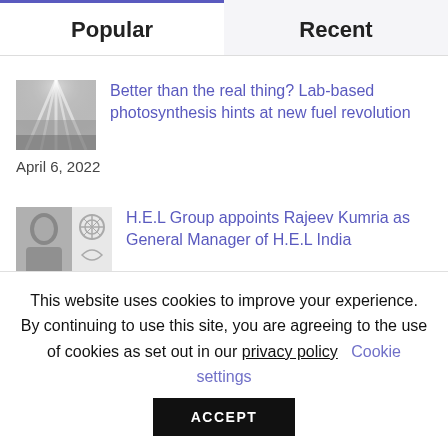Popular
Recent
Better than the real thing? Lab-based photosynthesis hints at new fuel revolution
April 6, 2022
H.E.L Group appoints Rajeev Kumria as General Manager of H.E.L India
January 25, 2022
This website uses cookies to improve your experience. By continuing to use this site, you are agreeing to the use of cookies as set out in our privacy policy   Cookie settings
ACCEPT